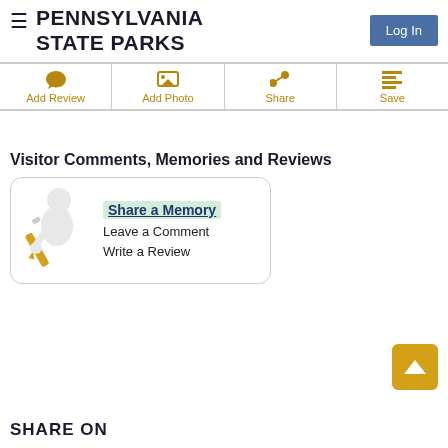PENNSYLVANIA STATE PARKS
[Figure (screenshot): Navigation bar with Add Review, Add Photo, Share, Save buttons in gold color with icons]
Visitor Comments, Memories and Reviews
[Figure (illustration): Card with a white 3D figure holding a pencil, with links: Share a Memory, Leave a Comment, Write a Review]
SHARE ON